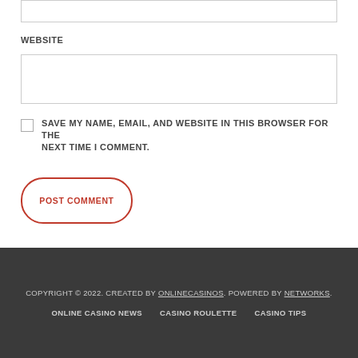[Figure (screenshot): Input box at top of page (partial, cropped)]
WEBSITE
[Figure (screenshot): Website input text field]
SAVE MY NAME, EMAIL, AND WEBSITE IN THIS BROWSER FOR THE NEXT TIME I COMMENT.
[Figure (other): POST COMMENT button with rounded red border]
COPYRIGHT © 2022. CREATED BY ONLINECASINOS. POWERED BY NETWORKS.
ONLINE CASINO NEWS   CASINO ROULETTE   CASINO TIPS